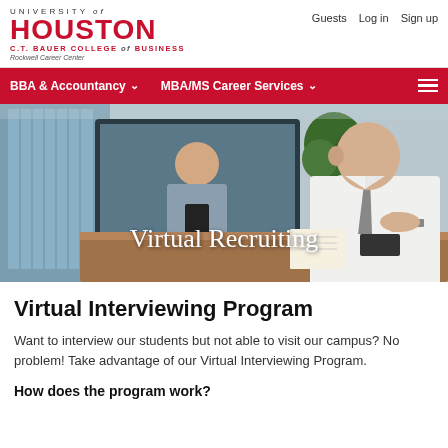UNIVERSITY of HOUSTON | C.T. BAUER COLLEGE of BUSINESS | Rockwell Career Center | Guests  Log in  Sign up
[Figure (screenshot): Red navigation bar with menu items: BBA & Accountancy (dropdown), MBA/MS Career Services (dropdown), and hamburger menu icon]
[Figure (photo): Hero image of a virtual interview scene with text overlay 'Virtual Recruiting'. A man in a white shirt and tie is gesturing while another person appears on a screen behind a conference table.]
Virtual Interviewing Program
Want to interview our students but not able to visit our campus? No problem! Take advantage of our Virtual Interviewing Program.
How does the program work?